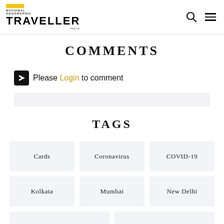National Geographic TRAVELLER India
COMMENTS
Please Login to comment
TAGS
Cards
Coronavirus
COVID-19
Kolkata
Mumbai
New Delhi
Quarantine
Stay At Home